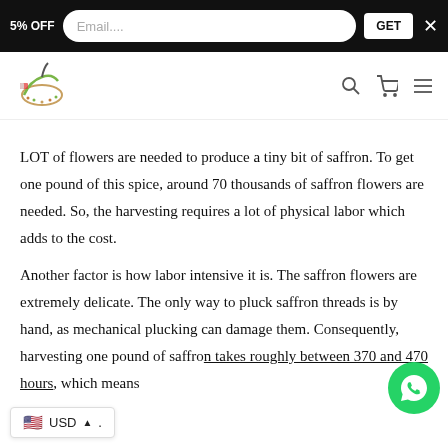5% OFF  Email....  GET  X
[Figure (logo): Decorative Arabic-style logo with ornamental letter and small flag]
LOT of flowers are needed to produce a tiny bit of saffron. To get one pound of this spice, around 70 thousands of saffron flowers are needed. So, the harvesting requires a lot of physical labor which adds to the cost.
Another factor is how labor intensive it is. The saffron flowers are extremely delicate. The only way to pluck saffron threads is by hand, as mechanical plucking can damage them. Consequently, harvesting one pound of saffron takes roughly between 370 and 470 hours, which means
[Figure (logo): WhatsApp green circle button with phone icon]
🇺🇸 USD ▲.